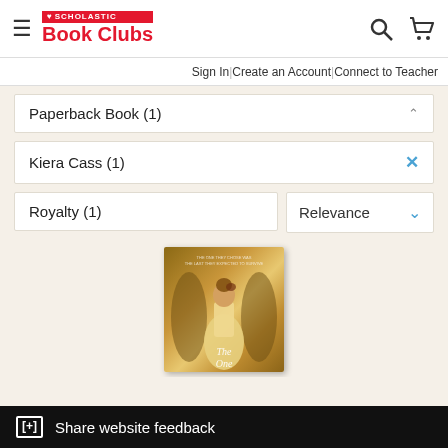[Figure (screenshot): Scholastic Book Clubs website header with hamburger menu, logo, search and cart icons]
Sign In | Create an Account | Connect to Teacher
Paperback Book (1)
Kiera Cass (1)
Royalty (1)
Relevance
[Figure (photo): Book cover showing a young woman in a golden dress with ornate styling, likely a fantasy/royalty themed novel]
[+] Share website feedback